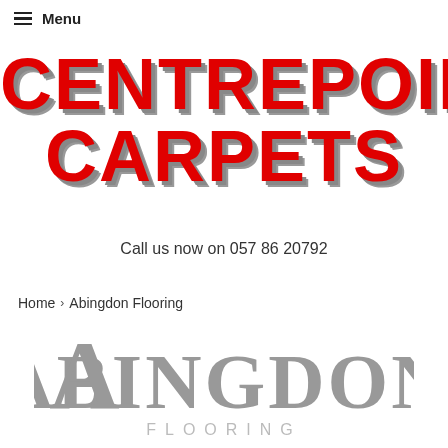≡ Menu
CENTREPOINT CARPETS
Call us now on 057 86 20792
Home › Abingdon Flooring
[Figure (logo): Abingdon Flooring logo in grey serif font with large decorative A and FLOORING subtitle]